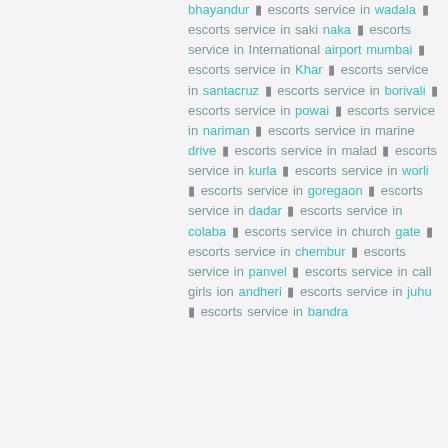bhayandur ▮ escorts service in wadala ▮ escorts service in saki naka ▮ escorts service in International airport mumbai ▮ escorts service in Khar ▮ escorts service in santacruz ▮ escorts service in borivali ▮ escorts service in powai ▮ escorts service in nariman ▮ escorts service in marine drive ▮ escorts service in malad ▮ escorts service in kurla ▮ escorts service in worli ▮ escorts service in goregaon ▮ escorts service in dadar ▮ escorts service in colaba ▮ escorts service in church gate ▮ escorts service in chembur ▮ escorts service in panvel ▮ escorts service in call girls ion andheri ▮ escorts service in juhu ▮ escorts service in bandra